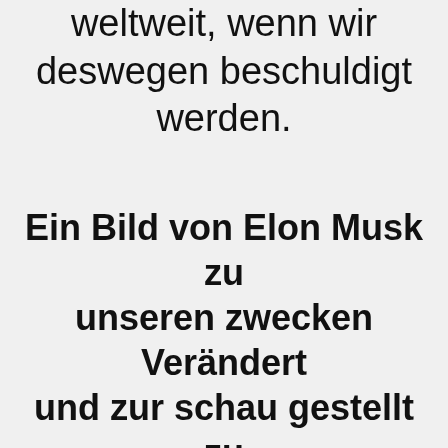weltweit, wenn wir deswegen beschuldigt werden.
Ein Bild von Elon Musk zu unseren zwecken Verändert und zur schau gestellt zu haben.